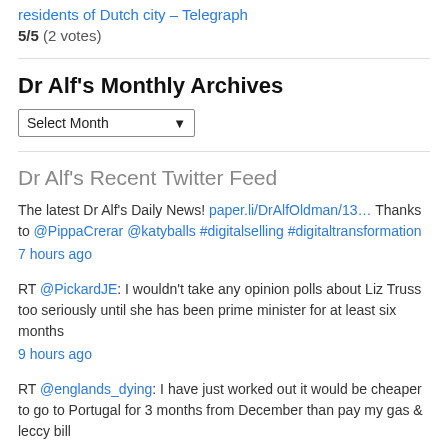residents of Dutch city – Telegraph
5/5 (2 votes)
Dr Alf's Monthly Archives
Select Month
Dr Alf's Recent Twitter Feed
The latest Dr Alf's Daily News! paper.li/DrAlfOldman/13… Thanks to @PippaCrerar @katyballs #digitalselling #digitaltransformation 7 hours ago
RT @PickardJE: I wouldn't take any opinion polls about Liz Truss too seriously until she has been prime minister for at least six months 9 hours ago
RT @englands_dying: I have just worked out it would be cheaper to go to Portugal for 3 months from December than pay my gas & leccy bill